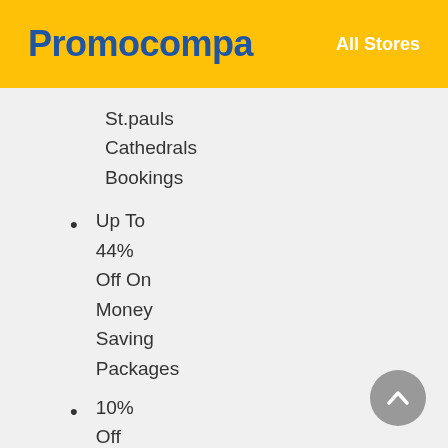Promocompa | All Stores
St.pauls
Cathedrals
Bookings
Up To 44% Off On Money Saving Packages
10% Off Climb Up At The O2 From